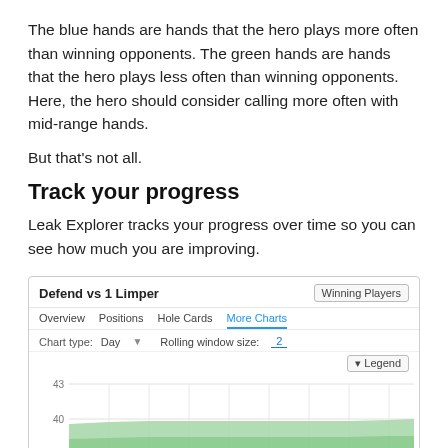The blue hands are hands that the hero plays more often than winning opponents. The green hands are hands that the hero plays less often than winning opponents. Here, the hero should consider calling more often with mid-range hands.
But that's not all.
Track your progress
Leak Explorer tracks your progress over time so you can see how much you are improving.
[Figure (area-chart): Area chart showing progress over time with a green filled area. Y-axis shows values 40 and 43. Chart type: Day, Rolling window size: 2. Tabs: Overview, Positions, Hole Cards, More Charts (active). Legend button visible.]